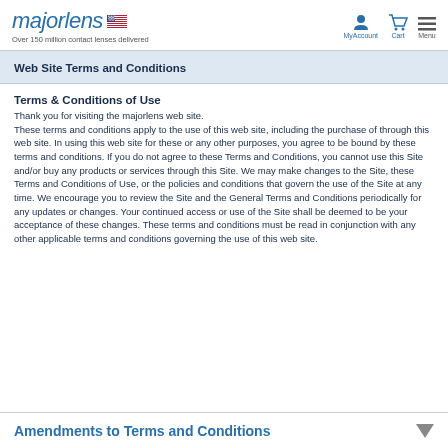majorlens | Over 150 million contact lenses delivered | MyAccount | Cart | Menu
Web Site Terms and Conditions
Terms & Conditions of Use
Thank you for visiting the majorlens web site. These terms and conditions apply to the use of this web site, including the purchase of through this web site. In using this web site for these or any other purposes, you agree to be bound by these terms and conditions. If you do not agree to these Terms and Conditions, you cannot use this Site and/or buy any products or services through this Site. We may make changes to the Site, these Terms and Conditions of Use, or the policies and conditions that govern the use of the Site at any time. We encourage you to review the Site and the General Terms and Conditions periodically for any updates or changes. Your continued access or use of the Site shall be deemed to be your acceptance of these changes. These terms and conditions must be read in conjunction with any other applicable terms and conditions governing the use of this web site.
Amendments to Terms and Conditions